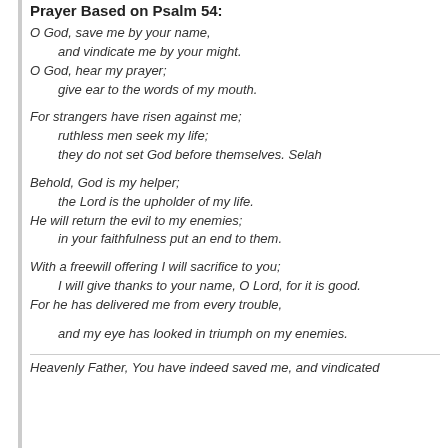Prayer Based on Psalm 54:
O God, save me by your name,
    and vindicate me by your might.
O God, hear my prayer;
    give ear to the words of my mouth.
For strangers have risen against me;
    ruthless men seek my life;
    they do not set God before themselves. Selah
Behold, God is my helper;
    the Lord is the upholder of my life.
He will return the evil to my enemies;
    in your faithfulness put an end to them.
With a freewill offering I will sacrifice to you;
    I will give thanks to your name, O Lord, for it is good.
For he has delivered me from every trouble,
and my eye has looked in triumph on my enemies.
Heavenly Father, You have indeed saved me, and vindicated